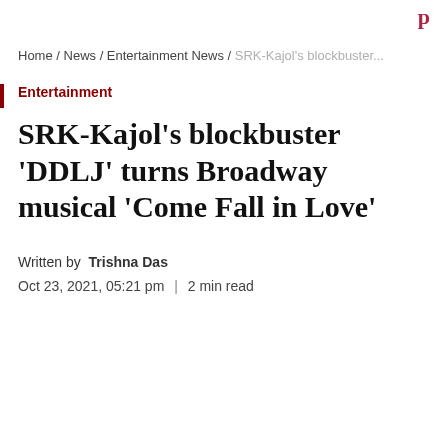Home / News / Entertainment News / SRK-Kajol's blockbuster...
Entertainment
SRK-Kajol's blockbuster 'DDLJ' turns Broadway musical 'Come Fall in Love'
Written by Trishna Das
Oct 23, 2021, 05:21 pm | 2 min read